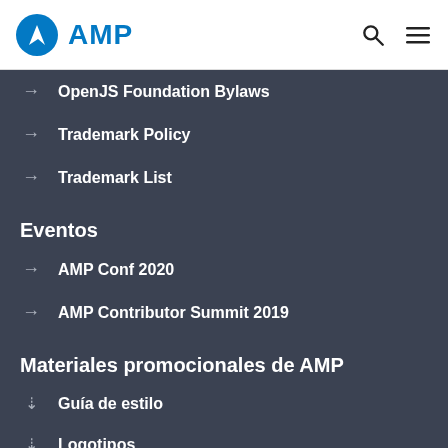AMP
OpenJS Foundation Bylaws
Trademark Policy
Trademark List
Eventos
AMP Conf 2020
AMP Contributor Summit 2019
Materiales promocionales de AMP
Guía de estilo
Logotipos